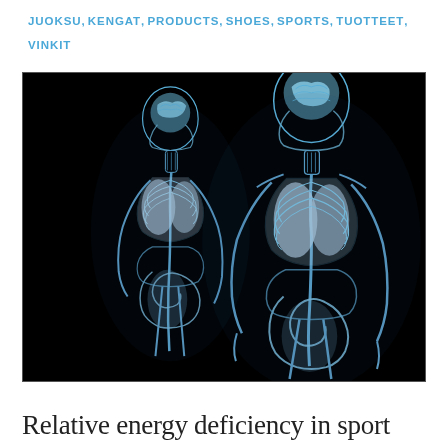JUOKSU, KENGAT, PRODUCTS, SHOES, SPORTS, TUOTTEET, VINKIT
[Figure (illustration): 3D medical illustration showing two human anatomical figures on a black background. Both figures display internal organs (brain, lungs, intestines, skeletal structure) rendered in blue and white tones with an X-ray or semi-transparent effect. Left figure is slightly smaller and angled; right figure is larger and facing forward.]
Relative energy deficiency in sport